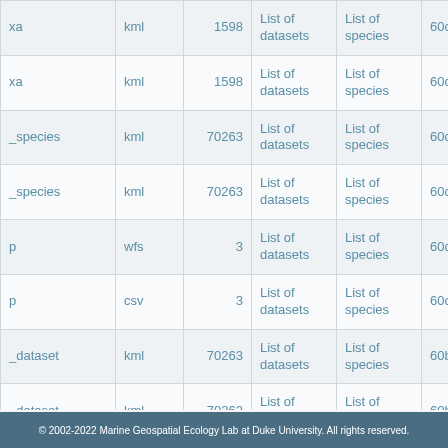| xa | kml | 1598 | List of datasets | List of species | 60cbbff6c9... |
| xa | kml | 1598 | List of datasets | List of species | 60cbbff6c9... |
| _species | kml | 70263 | List of datasets | List of species | 60ca59d13... |
| _species | kml | 70263 | List of datasets | List of species | 60c62b42a... |
| p | wfs | 3 | List of datasets | List of species | 60c34e2cd... |
| p | csv | 3 | List of datasets | List of species | 60c34e2cd... |
| _dataset | kml | 70263 | List of datasets | List of species | 60bc34040... |
| _dataset | kml | 70263 | List of datasets | List of species | 60bc34040... |
| _dataset | kml | 70263 | List of datasets | List of species | 60bc34040... |
| p | csv | 19 | List of datasets | List of species | 60b822a44... |
© 2002-2022 Marine Geospatial Ecology Lab at Duke University. All rights reserved.